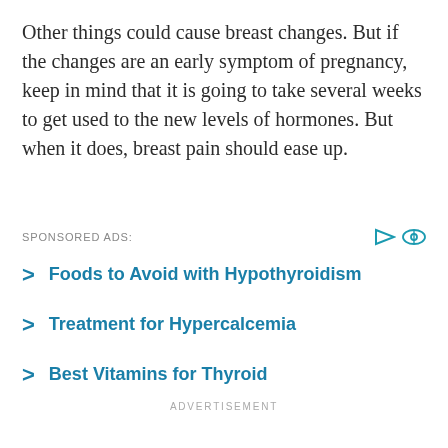Other things could cause breast changes. But if the changes are an early symptom of pregnancy, keep in mind that it is going to take several weeks to get used to the new levels of hormones. But when it does, breast pain should ease up.
SPONSORED ADS:
Foods to Avoid with Hypothyroidism
Treatment for Hypercalcemia
Best Vitamins for Thyroid
ADVERTISEMENT